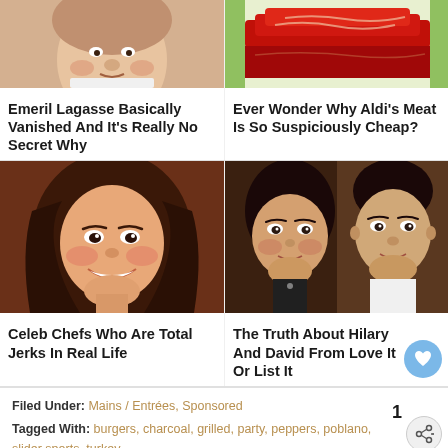[Figure (photo): Photo of Emeril Lagasse, top half cropped]
[Figure (photo): Photo of red meat cuts stacked]
Emeril Lagasse Basically Vanished And It's Really No Secret Why
Ever Wonder Why Aldi's Meat Is So Suspiciously Cheap?
[Figure (photo): Photo of Rachael Ray smiling]
[Figure (photo): Photo of Hilary and David from Love It Or List It]
Celeb Chefs Who Are Total Jerks In Real Life
The Truth About Hilary And David From Love It Or List It
Filed Under: Mains / Entrées, Sponsored
Tagged With: burgers, charcoal, grilled, party, peppers, poblano, slider, sports, turkey